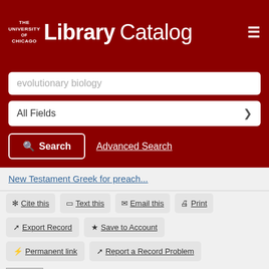The University of Chicago Library Catalog
evolutionary biology
All Fields
Search  Advanced Search
New Testament Greek for preach...
✳ Cite this
□ Text this
✉ Email this
🖨 Print
↗ Export Record
★ Save to Account
⚙ Permanent link
↗ Report a Record Problem
New Testament Greek for